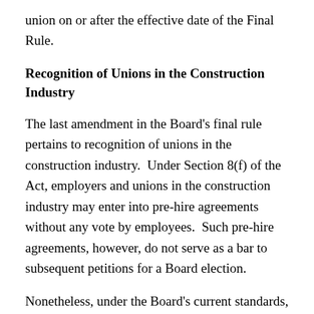union on or after the effective date of the Final Rule.
Recognition of Unions in the Construction Industry
The last amendment in the Board's final rule pertains to recognition of unions in the construction industry. Under Section 8(f) of the Act, employers and unions in the construction industry may enter into pre-hire agreements without any vote by employees. Such pre-hire agreements, however, do not serve as a bar to subsequent petitions for a Board election.
Nonetheless, under the Board's current standards, employers and unions that have entered into such agreements may convert the 8(f) pre-hire